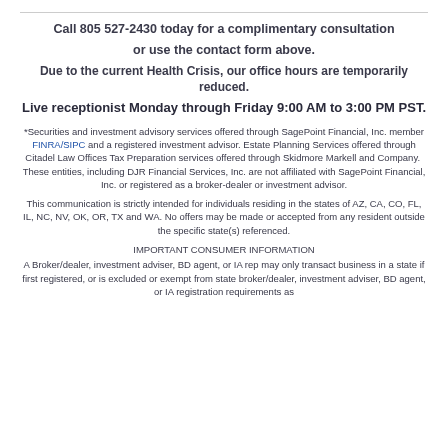Call 805 527-2430 today for a complimentary consultation or use the contact form above.
Due to the current Health Crisis, our office hours are temporarily reduced.
Live receptionist Monday through Friday 9:00 AM to 3:00 PM PST.
*Securities and investment advisory services offered through SagePoint Financial, Inc. member FINRA/SIPC and a registered investment advisor. Estate Planning Services offered through Citadel Law Offices Tax Preparation services offered through Skidmore Markell and Company. These entities, including DJR Financial Services, Inc. are not affiliated with SagePoint Financial, Inc. or registered as a broker-dealer or investment advisor.
This communication is strictly intended for individuals residing in the states of AZ, CA, CO, FL, IL, NC, NV, OK, OR, TX and WA. No offers may be made or accepted from any resident outside the specific state(s) referenced.
IMPORTANT CONSUMER INFORMATION
A Broker/dealer, investment adviser, BD agent, or IA rep may only transact business in a state if first registered, or is excluded or exempt from state broker/dealer, investment adviser, BD agent, or IA registration requirements as